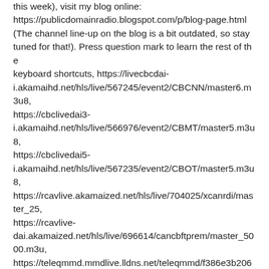this week), visit my blog online: https://publicdomainradio.blogspot.com/p/blog-page.html (The channel line-up on the blog is a bit outdated, so stay tuned for that!). Press question mark to learn the rest of the keyboard shortcuts, https://livecbcdai-i.akamaihd.net/hls/live/567245/event2/CBCNN/master6.m3u8, https://cbclivedai3-i.akamaihd.net/hls/live/566976/event2/CBMT/master5.m3u8, https://cbclivedai5-i.akamaihd.net/hls/live/567235/event2/CBOT/master5.m3u8, https://rcavlive.akamaized.net/hls/live/704025/xcanrdi/master_25, https://rcavlive-dai.akamaized.net/hls/live/696614/cancbftprem/master_5000.m3u, https://teleqmmd.mmdlive.lldns.net/teleqmmd/f386e3b206814e1, https://bcsecurelivehls-i.akamaihd.net/hls/live/551061/6185668550001/master.m3u8, https://glblvhalifax-lh.akamaihd.net/i/glblvHalifax_1@119843/master.m3u8, https://glblvestu-f.akamaihd.net/i/glblvestu_1@78149/master.m3u8, https://glblvmstu-f.akamaihd.net/i/glblvMSTu_1@80127/master.m3u8, https://glblvedmonton-lh.akamaihd.net/i/glblvEdmonton_1@119844/master.m3u8